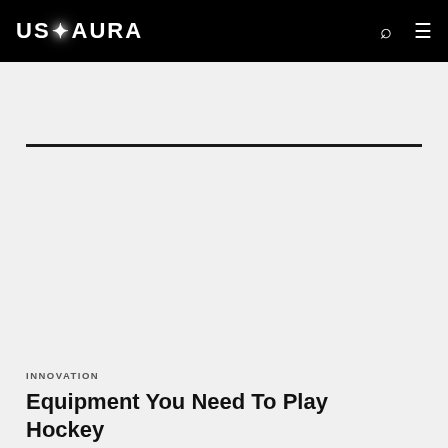USAURA
INNOVATION
Equipment You Need To Play Hockey
BY CLINT BROCK